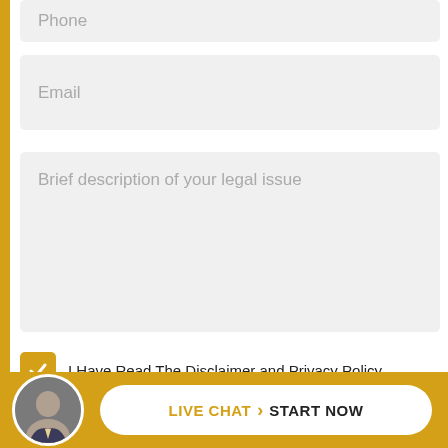Phone
Email
Brief description of your legal issue
I Have Read The Disclaimer and Privacy Policy *
[Figure (other): reCAPTCHA widget with checkbox labeled I'm not a robot]
LIVE CHAT > START NOW